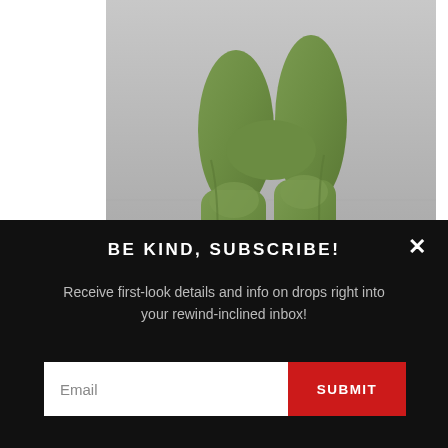[Figure (photo): Photo of a green muscular action figure (Mr. Manglord) standing on a brown rocky base, photographed against a grey background. Only the lower torso and legs of the figure are visible.]
Mr. Manglord himself
Nowadays, these toys probably wouldn't last a week on the shelves, which is a damn shame. I heard some of
[Figure (screenshot): Dark popup overlay with the heading 'BE KIND, SUBSCRIBE!', subtext 'Receive first-look details and info on drops right into your rewind-inclined inbox!', an email input field, a red SUBMIT button, and a white X close button in the top-right corner.]